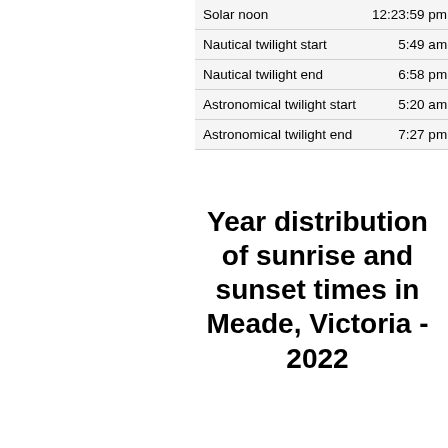|  |  |
| --- | --- |
| Solar noon | 12:23:59 pm |
| Nautical twilight start | 5:49 am |
| Nautical twilight end | 6:58 pm |
| Astronomical twilight start | 5:20 am |
| Astronomical twilight end | 7:27 pm |
Year distribution of sunrise and sunset times in Meade, Victoria - 2022